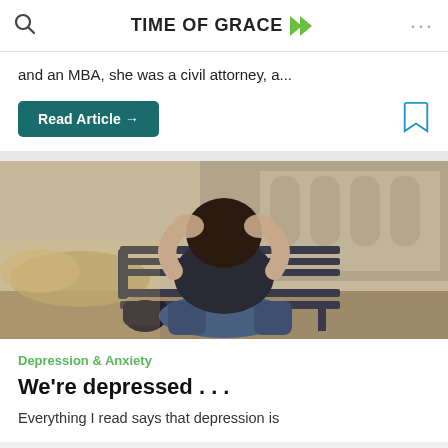TIME OF GRACE
and an MBA, she was a civil attorney, a...
Read Article →
[Figure (photo): Person sitting on a bench with head in hands, appearing distressed, with a bag beside them]
Depression & Anxiety
We're depressed . . .
Everything I read says that depression is